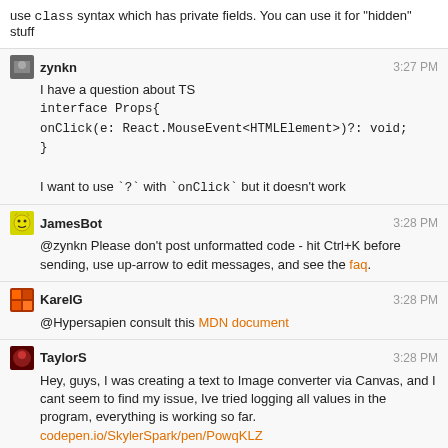use class syntax which has private fields. You can use it for "hidden" stuff
zynkn 3:27 PM
I have a question about TS
interface Props{
onClick(e: React.MouseEvent<HTMLElement>)?: void;
}
I want to use `?` with `onClick` but it doesn't work
JamesBot 3:28 PM
@zynkn Please don't post unformatted code - hit Ctrl+K before sending, use up-arrow to edit messages, and see the faq.
KarelG 3:28 PM
@Hypersapien consult this MDN document
TaylorS 3:28 PM
Hey, guys, I was creating a text to Image converter via Canvas, and I cant seem to find my issue, Ive tried logging all values in the program, everything is working so far.
codepen.io/SkylerSpark/pen/PowqKLZ
The canvas isnt rendering the text, or the background
its not rendering anything at all
JamesBot 3:29 PM
@zynkn Please don't post unformatted code - hit Ctrl+K before sending, use up-arrow to edit messages, and see the faq.
TaylorS 3:29 PM